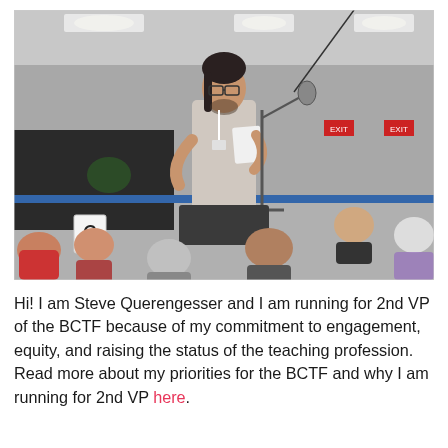[Figure (photo): A man with glasses and dark hair tied back stands at a microphone on a small podium, holding papers and speaking. He wears a light-colored button-up shirt. The room is filled with seated attendees at tables, and recessed lighting is visible in the ceiling. A number placard '6' is visible in the foreground.]
Hi! I am Steve Querengesser and I am running for 2nd VP of the BCTF because of my commitment to engagement, equity, and raising the status of the teaching profession. Read more about my priorities for the BCTF and why I am running for 2nd VP here.